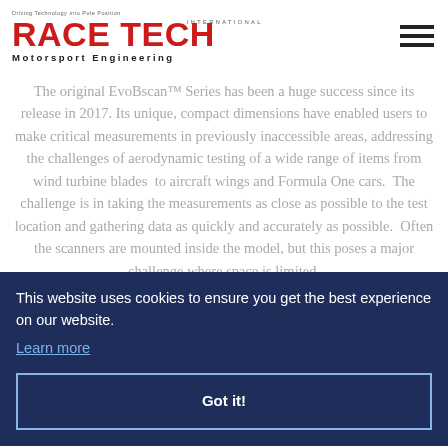RACE TECH International — Motorsport Engineering
The original EvoBscan™ Series has been a huge success since its release in 2017. Its unique, compact dimensions have enabled users to make critical measurements in previously inaccessible areas, addressing the challenges of aerodynamic testing of a wide range of items from wind turbine blades to aircraft wings and Formula One cars. The challenge is in taking the measurements as close as possible to the test location and gathering data as quickly and accurately as possible. Often the scanners are mounted inside the model, but this poses a major challenge where space is limited.
This website uses cookies to ensure you get the best experience on our website.
Learn more
Got it!